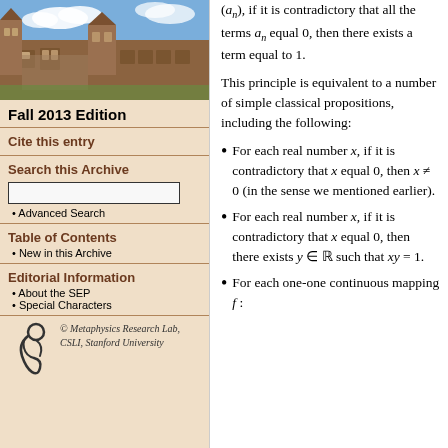[Figure (photo): Photograph of a stone university building with towers and courtyard under a blue sky with clouds]
Fall 2013 Edition
Cite this entry
Search this Archive
Advanced Search
Table of Contents
New in this Archive
Editorial Information
About the SEP
Special Characters
[Figure (logo): Metaphysics Research Lab logo — stylized figure]
© Metaphysics Research Lab, CSLI, Stanford University
(a_n), if it is contradictory that all the terms a_n equal 0, then there exists a term equal to 1.
This principle is equivalent to a number of simple classical propositions, including the following:
For each real number x, if it is contradictory that x equal 0, then x ≠ 0 (in the sense we mentioned earlier).
For each real number x, if it is contradictory that x equal 0, then there exists y ∈ ℝ such that xy = 1.
For each one-one continuous mapping f :